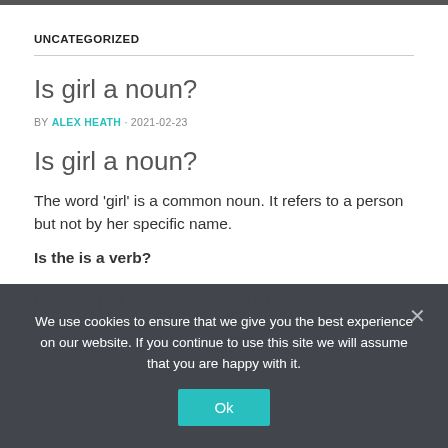UNCATEGORIZED
Is girl a noun?
BY ALEX HEATH · 2021-02-23
Is girl a noun?
The word 'girl' is a common noun. It refers to a person but not by her specific name.
Is the is a verb?
We use cookies to ensure that we give you the best experience on our website. If you continue to use this site we will assume that you are happy with it.